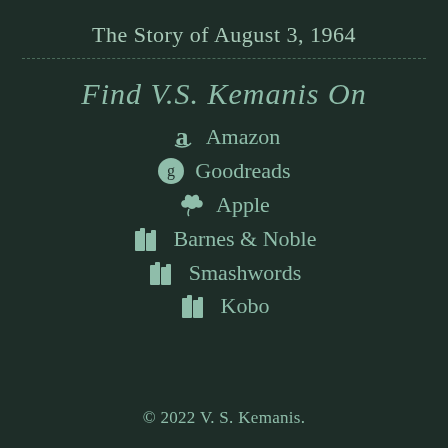The Story of August 3, 1964
Find V.S. Kemanis On
Amazon
Goodreads
Apple
Barnes & Noble
Smashwords
Kobo
© 2022 V. S. Kemanis.